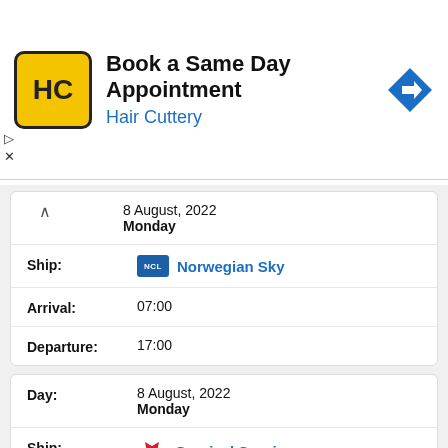[Figure (screenshot): Hair Cuttery advertisement banner: yellow logo with HC initials, text 'Book a Same Day Appointment', subtitle 'Hair Cuttery', blue navigation arrow icon on right]
| Field | Value |
| --- | --- |
| Day: | 8 August, 2022
Monday |
| Ship: | Norwegian Sky |
| Arrival: | 07:00 |
| Departure: | 17:00 |
| Field | Value |
| --- | --- |
| Day: | 8 August, 2022
Monday |
| Ship: | Carnival Sunrise |
| Arrival: | 08:00 |
| Departure: | 15:00 |